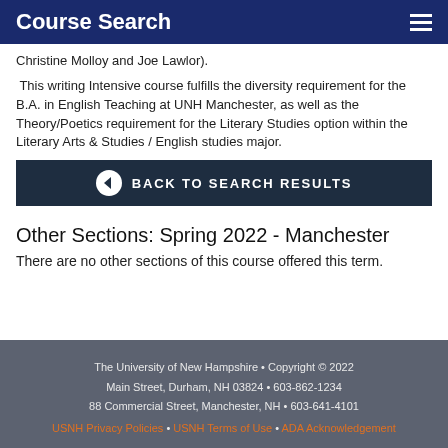Course Search
Christine Molloy and Joe Lawlor).
This writing Intensive course fulfills the diversity requirement for the B.A. in English Teaching at UNH Manchester, as well as the Theory/Poetics requirement for the Literary Studies option within the Literary Arts & Studies / English studies major.
BACK TO SEARCH RESULTS
Other Sections: Spring 2022 - Manchester
There are no other sections of this course offered this term.
The University of New Hampshire • Copyright © 2022
Main Street, Durham, NH 03824 • 603-862-1234
88 Commercial Street, Manchester, NH • 603-641-4101
USNH Privacy Policies • USNH Terms of Use • ADA Acknowledgement